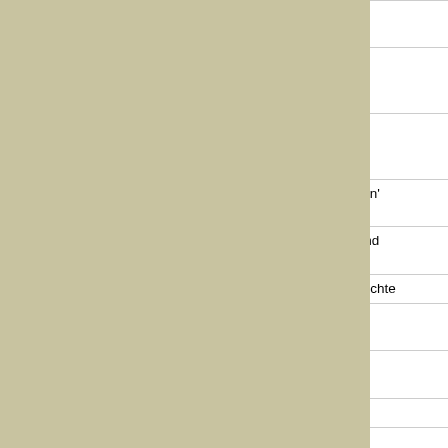|  | Artist | Title |
| --- | --- | --- |
|  |  | When I B Drinking |
|  | Carl Halgren | Efter Vin Kommer Hennes |
|  | Willem Mengelberg conducting Concertgebouw Orchestra of Amsterdam | Egmont Parts 1 a (Beethov |
|  | Sidney Bechet and his New Orleans Feetwarmers | Egyptians / Slippin' Slidin' |
|  | Dr. Humphrey Bate & His Possum Hunters | Eighth O / Billy In Ground |
|  | John Stenzel | Einst Lei Froh / Ko Gedichte |
|  | Pedro Vargas / Conjunto "El Patio" del Chamaco Dominguez | El Aban Ya No Q |
|  | H.M. Grenadir Guards / Capt. George Miller | El Abani Second T |
|  | Imperio Argentina | El Dia Q Yo / Fals |
|  | Zaki Eff. Mourad | El Nom G Alal - III a |
|  | Banda Especial de la | El Novill |